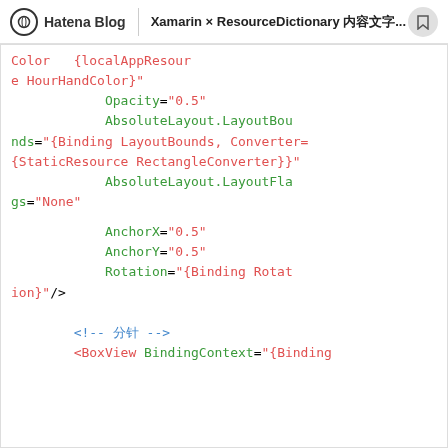Hatena Blog | Xamarin × ResourceDictionary …
Color {localAppResource HourHandColor}" Opacity="0.5" AbsoluteLayout.LayoutBounds="{Binding LayoutBounds, Converter={StaticResource RectangleConverter}}" AbsoluteLayout.LayoutFlags="None" AnchorX="0.5" AnchorY="0.5" Rotation="{Binding Rotation}"/> <!-- 分針 --> <BoxView BindingContext="{Binding